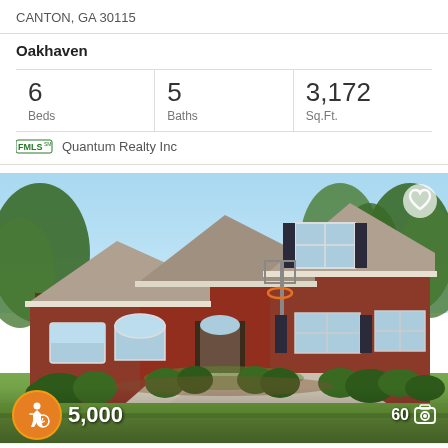CANTON, GA 30115
Oakhaven
| Beds | Baths | Sq.Ft. |
| --- | --- | --- |
| 6 | 5 | 3,172 |
FMLS Quantum Realty Inc
[Figure (photo): Exterior photo of a large brick ranch house with three-car garage, arched windows, basketball hoop, and well-landscaped yard with shrubs. Heart/favorite icon in top-right corner, accessibility icon and price overlay at bottom-left, photo count (60) at bottom-right.]
5,000
60